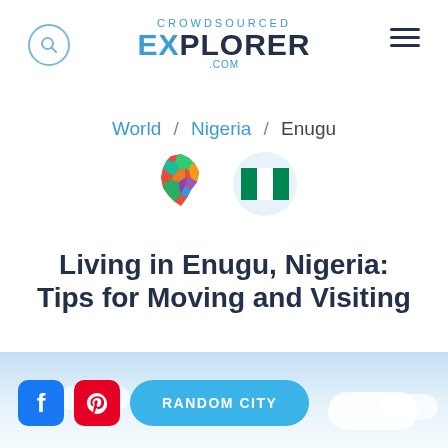CROWDSOURCED EXPLORER .com
World / Nigeria / Enugu
[Figure (illustration): Nigeria map emoji and Nigerian flag circle icons]
Living in Enugu, Nigeria: Tips for Moving and Visiting
16 Local Experts ↓
[Figure (photo): Sky and clouds landscape photo at bottom of page]
RANDOM CITY